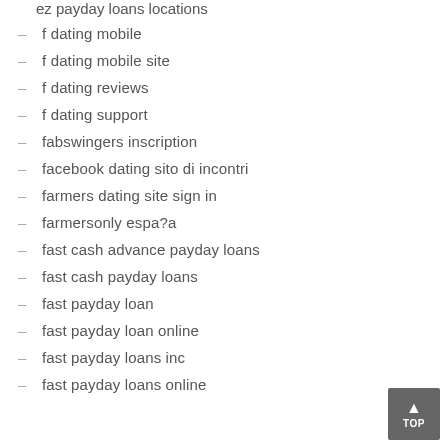ez payday loans locations
f dating mobile
f dating mobile site
f dating reviews
f dating support
fabswingers inscription
facebook dating sito di incontri
farmers dating site sign in
farmersonly espa?a
fast cash advance payday loans
fast cash payday loans
fast payday loan
fast payday loan online
fast payday loans inc
fast payday loans online